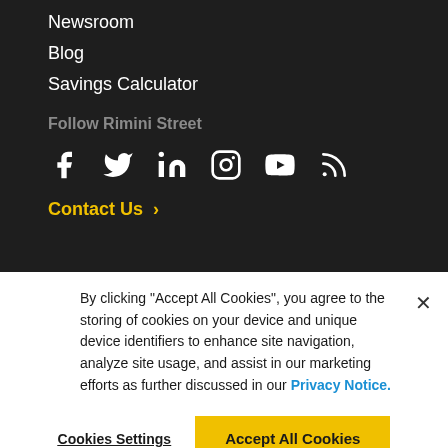Newsroom
Blog
Savings Calculator
Follow Rimini Street
[Figure (infographic): Social media icons: Facebook, Twitter, LinkedIn, Instagram, YouTube, RSS]
Contact Us ›
By clicking “Accept All Cookies”, you agree to the storing of cookies on your device and unique device identifiers to enhance site navigation, analyze site usage, and assist in our marketing efforts as further discussed in our Privacy Notice.
Cookies Settings
Accept All Cookies